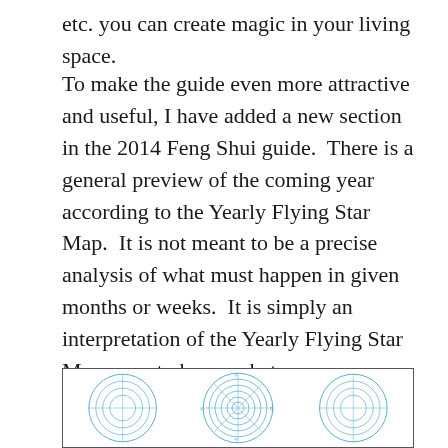etc. you can create magic in your living space.
To make the guide even more attractive and useful, I have added a new section in the 2014 Feng Shui guide.  There is a general preview of the coming year according to the Yearly Flying Star Map.  It is not meant to be a precise analysis of what must happen in given months or weeks.  It is simply an interpretation of the Yearly Flying Star Map so as to know what are more likely than not to happen in 2014.  I hope you like this section.
[Figure (other): Partial view of a Feng Shui compass/Lo Pan diagram with circular rings and Chinese characters, shown in light blue ink on white background.]